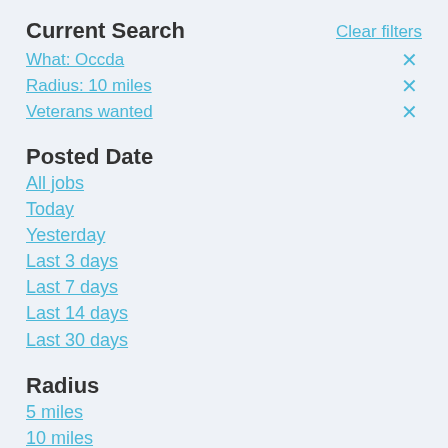Current Search
Clear filters
What: Occda ×
Radius: 10 miles ×
Veterans wanted ×
Posted Date
All jobs
Today
Yesterday
Last 3 days
Last 7 days
Last 14 days
Last 30 days
Radius
5 miles
10 miles
20 miles
30 miles
40 miles
50 miles